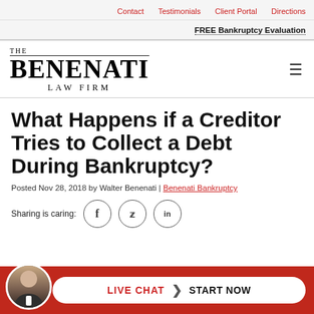Contact | Testimonials | Client Portal | Directions
FREE Bankruptcy Evaluation
[Figure (logo): The Benenati Law Firm logo with serif text]
What Happens if a Creditor Tries to Collect a Debt During Bankruptcy?
Posted Nov 28, 2018 by Walter Benenati | Benenati Bankruptcy
Sharing is caring: [Facebook] [Twitter] [LinkedIn]
[Figure (infographic): Live chat button with attorney photo: LIVE CHAT > START NOW on red background]